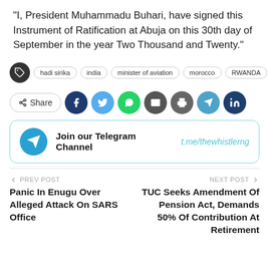“I, President Muhammadu Buhari, have signed this Instrument of Ratification at Abuja on this 30th day of September in the year Two Thousand and Twenty.”
Tags: hadi sirika, india, minister of aviation, morocco, RWANDA
Share (social icons: facebook, twitter, whatsapp, email, print, telegram, linkedin)
[Figure (infographic): Join our Telegram Channel — t.me/thewhistlerng]
PREV POST — Panic In Enugu Over Alleged Attack On SARS Office
NEXT POST — TUC Seeks Amendment Of Pension Act, Demands 50% Of Contribution At Retirement